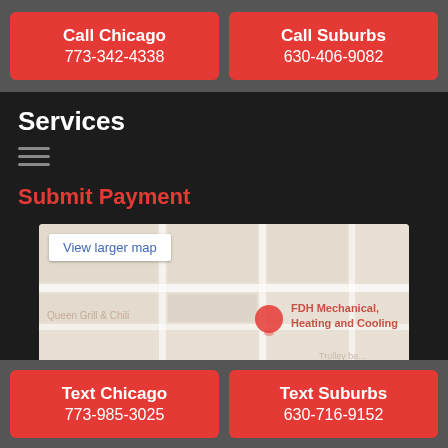Call Chicago
773-342-4338
Call Suburbs
630-406-9082
Services
Submit Payment
[Figure (map): Google Maps embed showing FDH Mechanical Heating and Cooling location, with 'View larger map' button and Queen Grill & Chili nearby]
Text Chicago
773-985-3025
Text Suburbs
630-716-9152